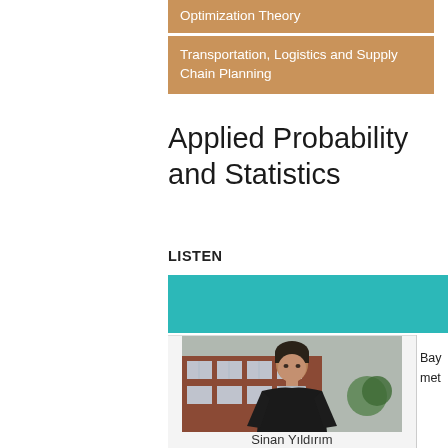Optimization Theory
Transportation, Logistics and Supply Chain Planning
Applied Probability and Statistics
LISTEN
[Figure (photo): Teal/turquoise colored banner strip]
[Figure (photo): Portrait photo of Sinan Yıldırım, a man in a black sweater standing outdoors in front of a brick building with windows]
Bay met
Sinan Yıldırım